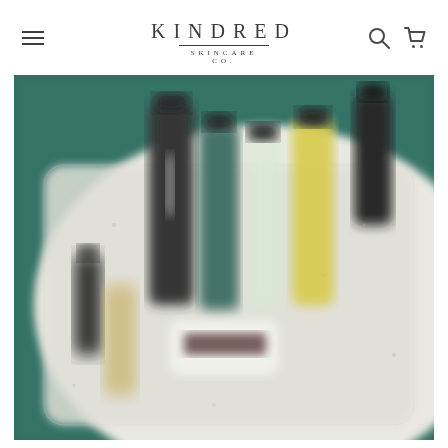KINDRED SKINCARE CO. — Navigation header with menu, logo, search and cart icons
[Figure (photo): Blurred overhead photograph of skincare product bottles arranged on a white tray against a dark teal/green background. Products include a tall black bottle, a teal/dark green bottle, a clear bottle, a yellow bottle, and smaller dark bottles, along with a white product with a dark label in the foreground.]